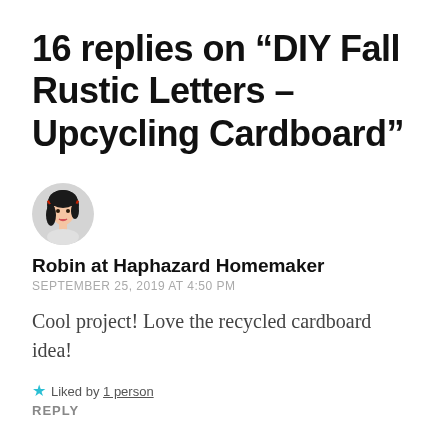16 replies on “DIY Fall Rustic Letters – Upcycling Cardboard”
[Figure (illustration): Circular avatar icon of a cartoon woman with black hair and red headband, facing slightly right.]
Robin at Haphazard Homemaker
SEPTEMBER 25, 2019 AT 4:50 PM
Cool project! Love the recycled cardboard idea!
★ Liked by 1 person
REPLY